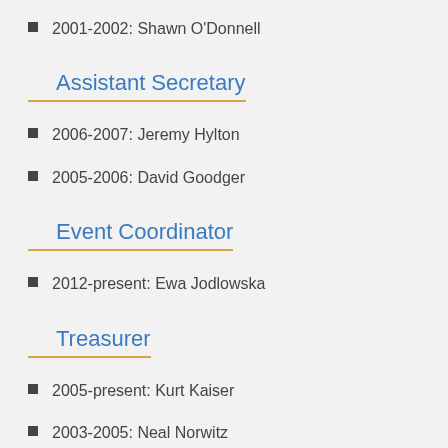2001-2002: Shawn O'Donnell
Assistant Secretary
2006-2007: Jeremy Hylton
2005-2006: David Goodger
Event Coordinator
2012-present: Ewa Jodlowska
Treasurer
2005-present: Kurt Kaiser
2003-2005: Neal Norwitz
2002-2003: Jeremy Hylton